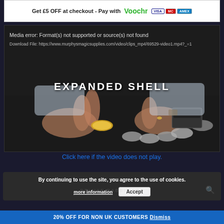[Figure (screenshot): Top banner ad: 'Get £5 OFF at checkout - Pay with Voochr' with VISA, Mastercard, AMEX card logos]
[Figure (screenshot): Video player showing media error: Format(s) not supported or source(s) not found. Download File link shown. Video thumbnail shows hands with coins on dark table with text 'EXPANDED SHELL']
Click here if the video does not play.
By continuing to use the site, you agree to the use of cookies.
more information
Accept
20% OFF FOR NON UK CUSTOMERS Dismiss